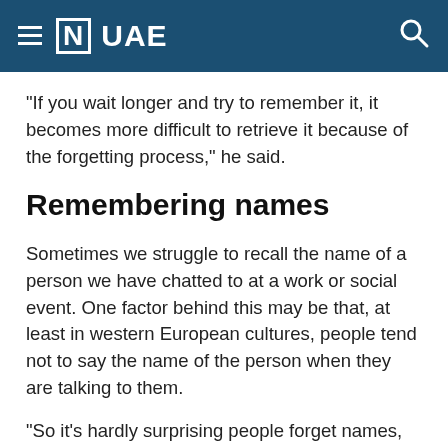≡ [N] UAE
“If you wait longer and try to remember it, it becomes more difficult to retrieve it because of the forgetting process,” he said.
Remembering names
Sometimes we struggle to recall the name of a person we have chatted to at a work or social event. One factor behind this may be that, at least in western European cultures, people tend not to say the name of the person when they are talking to them.
“So it’s hardly surprising people forget names, because they’re not using them.” Prof Logie